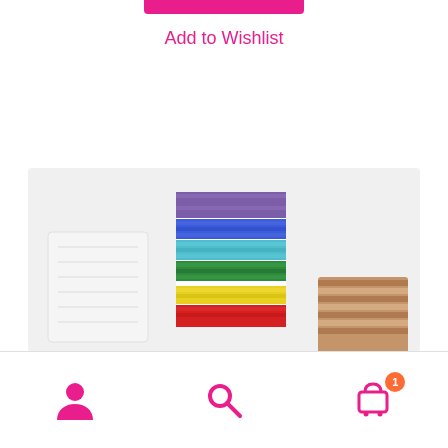Add to Wishlist
Decorate a Beaded Cake Competition
[Figure (photo): Photo of a beaded cake slice decoration with colorful horizontal stripes (purple, blue, cyan, green, yellow, red) next to plain white and brown/chocolate cake pieces on a white background]
Navigation bar with user, search, and cart (1 item) icons